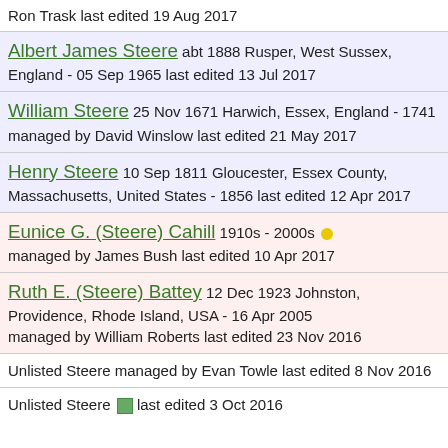Ron Trask last edited 19 Aug 2017
Albert James Steere abt 1888 Rusper, West Sussex, England - 05 Sep 1965 last edited 13 Jul 2017
William Steere 25 Nov 1671 Harwich, Essex, England - 1741 managed by David Winslow last edited 21 May 2017
Henry Steere 10 Sep 1811 Gloucester, Essex County, Massachusetts, United States - 1856 last edited 12 Apr 2017
Eunice G. (Steere) Cahill 1910s - 2000s managed by James Bush last edited 10 Apr 2017
Ruth E. (Steere) Battey 12 Dec 1923 Johnston, Providence, Rhode Island, USA - 16 Apr 2005 managed by William Roberts last edited 23 Nov 2016
Unlisted Steere managed by Evan Towle last edited 8 Nov 2016
Unlisted Steere last edited 3 Oct 2016